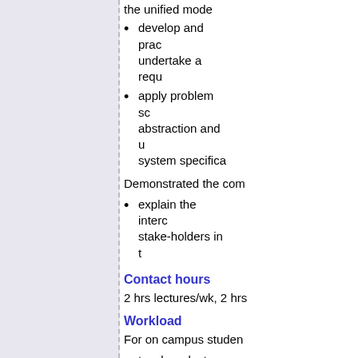develop and prac­tice ... undertake a requ­...
apply problem sc­... abstraction and u­... system specifica­...
Demonstrated the com­...
explain the interc­... stake-holders in t­...
Contact hours
2 hrs lectures/wk, 2 hrs­...
Workload
For on campus studen­...
two-hour lecture
two-hour studio (­...
a minimum of 2-3­... contact time in o­... expectations.